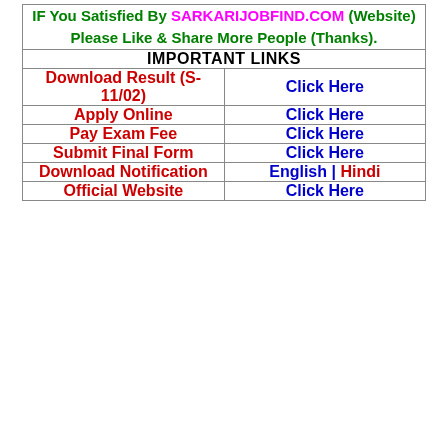IF You Satisfied By SARKARIJOBFIND.COM (Website) Please Like & Share More People (Thanks).
| IMPORTANT LINKS |  |
| --- | --- |
| Download Result (S-11/02) | Click Here |
| Apply Online | Click Here |
| Pay Exam Fee | Click Here |
| Submit Final Form | Click Here |
| Download Notification | English | Hindi |
| Official Website | Click Here |